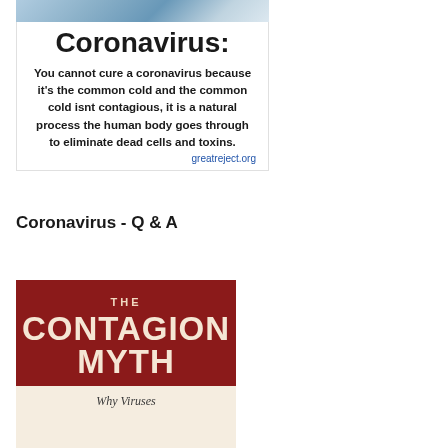[Figure (infographic): Screenshot of a social media post or article card with a photo of medical workers at top, a bold title 'Coronavirus:' and body text claiming coronavirus cannot be cured because it is the common cold and not contagious, with attribution to greatreject.org]
Coronavirus - Q & A
[Figure (illustration): Book cover for 'The Contagion Myth' with dark red background and cream/beige text. Subtitle begins 'Why Viruses' at bottom on a lighter background strip.]